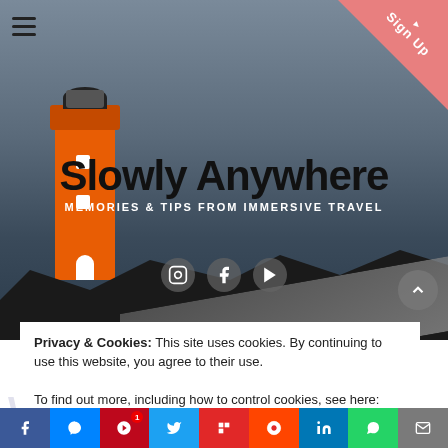[Figure (screenshot): Hero banner image of an orange lighthouse against a grey cloudy sky with a rocky coastal path, overlaid with website title 'Slowly Anywhere' and subtitle 'MEMORIES & TIPS FROM IMMERSIVE TRAVEL', social media icons (Instagram, Facebook, YouTube), and a 'Sign Up' ribbon in the top-right corner]
Slowly Anywhere
MEMORIES & TIPS FROM IMMERSIVE TRAVEL
Privacy & Cookies: This site uses cookies. By continuing to use this website, you agree to their use.
To find out more, including how to control cookies, see here: Privacy Policy
Close and accept
What We lea…